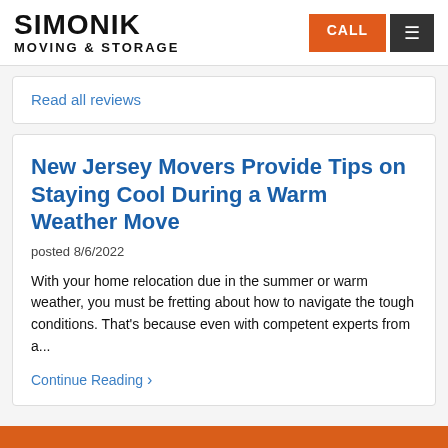SIMONIK MOVING & STORAGE | CALL | menu
Read all reviews
New Jersey Movers Provide Tips on Staying Cool During a Warm Weather Move
posted 8/6/2022
With your home relocation due in the summer or warm weather, you must be fretting about how to navigate the tough conditions. That's because even with competent experts from a...
Continue Reading >